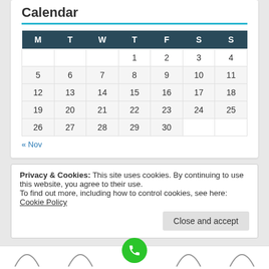Calendar
| M | T | W | T | F | S | S |
| --- | --- | --- | --- | --- | --- | --- |
|  |  |  | 1 | 2 | 3 | 4 |
| 5 | 6 | 7 | 8 | 9 | 10 | 11 |
| 12 | 13 | 14 | 15 | 16 | 17 | 18 |
| 19 | 20 | 21 | 22 | 23 | 24 | 25 |
| 26 | 27 | 28 | 29 | 30 |  |  |
« Nov
Privacy & Cookies: This site uses cookies. By continuing to use this website, you agree to their use. To find out more, including how to control cookies, see here: Cookie Policy
Close and accept